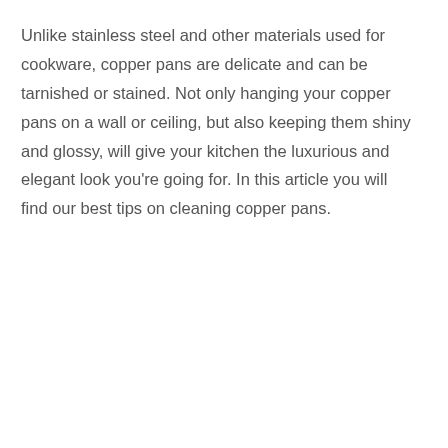Unlike stainless steel and other materials used for cookware, copper pans are delicate and can be tarnished or stained. Not only hanging your copper pans on a wall or ceiling, but also keeping them shiny and glossy, will give your kitchen the luxurious and elegant look you're going for. In this article you will find our best tips on cleaning copper pans.